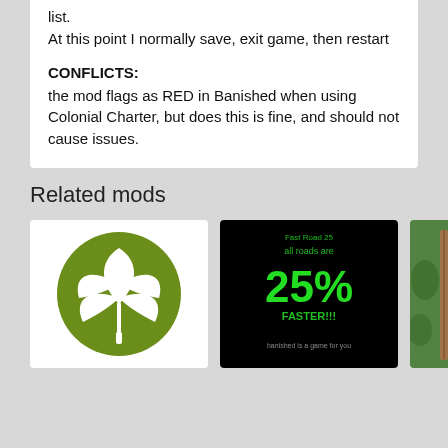list.
At this point I normally save, exit game, then restart
CONFLICTS:
the mod flags as RED in Banished when using Colonial Charter, but does this is fine, and should not cause issues.
Related mods
[Figure (illustration): Cannabis leaf logo — white leaf on olive green circle]
[Figure (screenshot): Black background image with green text: Fast Road 25, all roads are 25% FASTER!!!, banished is a game for you]
[Figure (photo): Partially visible outdoor photo with green vegetation and a wooden post]